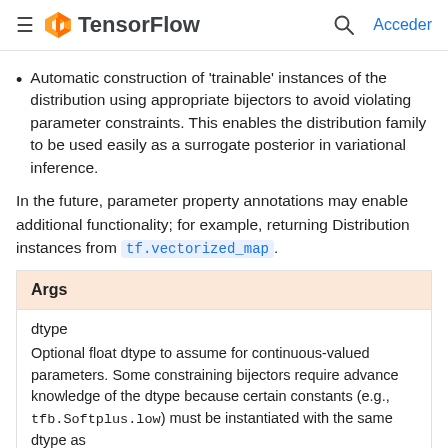TensorFlow — Acceder
Automatic construction of 'trainable' instances of the distribution using appropriate bijectors to avoid violating parameter constraints. This enables the distribution family to be used easily as a surrogate posterior in variational inference.
In the future, parameter property annotations may enable additional functionality; for example, returning Distribution instances from tf.vectorized_map.
| Args |
| --- |
| dtype |
| Optional float dtype to assume for continuous-valued parameters. Some constraining bijectors require advance knowledge of the dtype because certain constants (e.g., tfb.Softplus.low) must be instantiated with the same dtype as |